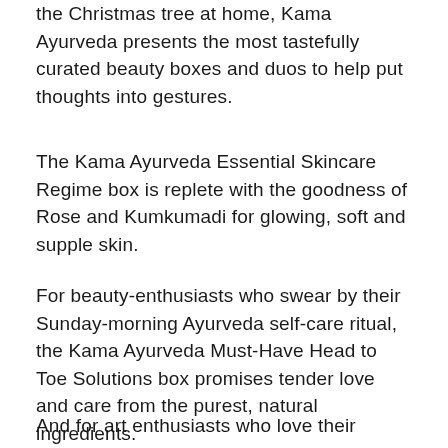the Christmas tree at home, Kama Ayurveda presents the most tastefully curated beauty boxes and duos to help put thoughts into gestures.
The Kama Ayurveda Essential Skincare Regime box is replete with the goodness of Rose and Kumkumadi for glowing, soft and supple skin.
For beauty-enthusiasts who swear by their Sunday-morning Ayurveda self-care ritual, the Kama Ayurveda Must-Have Head to Toe Solutions box promises tender love and care from the purest, natural ingredients.
And for art enthusiasts who love their beauty, giving the most exclusive and...